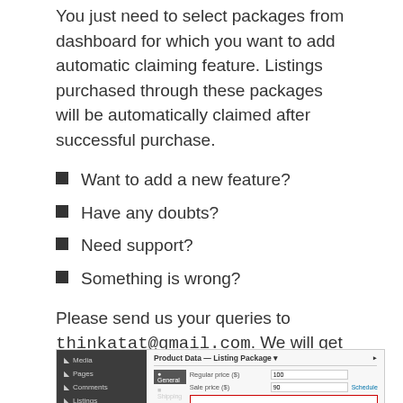You just need to select packages from dashboard for which you want to add automatic claiming feature. Listings purchased through these packages will be automatically claimed after successful purchase.
Want to add a new feature?
Have any doubts?
Need support?
Something is wrong?
Please send us your queries to thinkatat@gmail.com. We will get back to you within 24 hours.
Capturas de pantalla
[Figure (screenshot): WordPress admin dashboard screenshot showing Product Data — Listing Package panel with sidebar (Media, Pages, Comments, Listings, Contact, WooCommerce) and main area with Regular price ($): 100, Sale price ($): 90 with Schedule link, and Linked Products section with a red-bordered input box.]